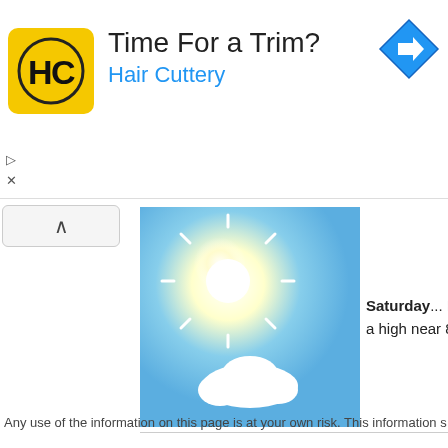[Figure (logo): Hair Cuttery ad banner with HC logo in yellow square, text 'Time For a Trim?' and 'Hair Cuttery' in blue, navigation icon top right]
[Figure (photo): Sunny sky with bright sunburst and a small white cloud - weather forecast image]
Saturday... Mostly a high near 80.
Any use of the information on this page is at your own risk. This information s